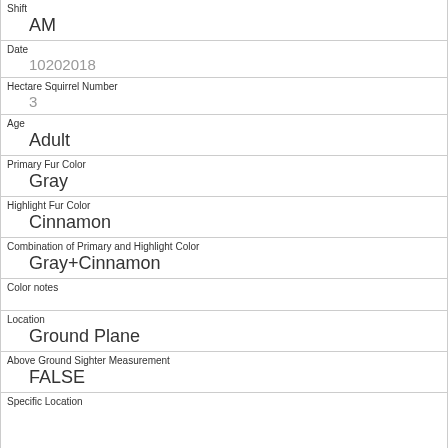Shift
AM
Date
10202018
Hectare Squirrel Number
3
Age
Adult
Primary Fur Color
Gray
Highlight Fur Color
Cinnamon
Combination of Primary and Highlight Color
Gray+Cinnamon
Color notes
Location
Ground Plane
Above Ground Sighter Measurement
FALSE
Specific Location